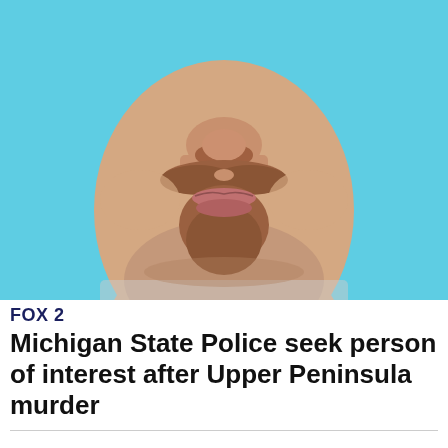[Figure (photo): Close-up photo of a middle-aged white male with a goatee/mustache, photographed against a light blue background, appearing to be a driver's license or mugshot-style photo. Only the lower portion of the face (nose, mustache, chin area) is visible, cropped tightly.]
FOX 2
Michigan State Police seek person of interest after Upper Peninsula murder